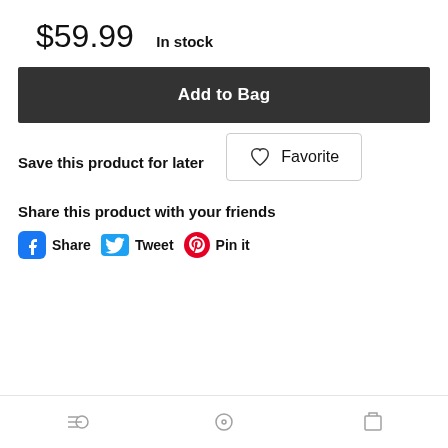$59.99
In stock
Add to Bag
Save this product for later
Favorite
Share this product with your friends
Share  Tweet  Pin it